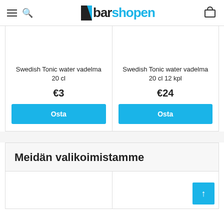barshopen
Swedish Tonic water vadelma 20 cl
€3
Osta
Swedish Tonic water vadelma 20 cl 12 kpl
€24
Osta
Meidän valikoimistamme